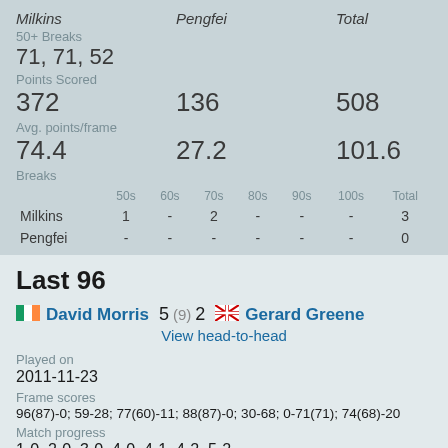|  | Milkins | Pengfei | Total |
| --- | --- | --- | --- |
| 50+ Breaks | 71, 71, 52 |  |  |
| Points Scored | 372 | 136 | 508 |
| Avg. points/frame | 74.4 | 27.2 | 101.6 |
| Breaks 50s/60s/70s/80s/90s/100s/Total |  |  |  |
|  | 50s | 60s | 70s | 80s | 90s | 100s | Total |
| --- | --- | --- | --- | --- | --- | --- | --- |
| Milkins | 1 | - | 2 | - | - | - | 3 |
| Pengfei | - | - | - | - | - | - | 0 |
Last 96
David Morris  5  (9)  2  Gerard Greene
View head-to-head
Played on
2011-11-23
Frame scores
96(87)-0; 59-28; 77(60)-11; 88(87)-0; 30-68; 0-71(71); 74(68)-20
Match progress
1-0, 2-0, 3-0, 4-0, 4-1, 4-2, 5-2